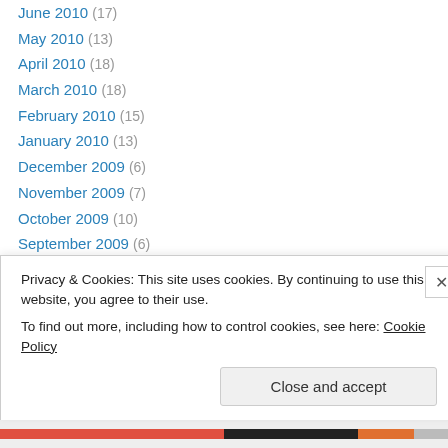June 2010 (17)
May 2010 (13)
April 2010 (18)
March 2010 (18)
February 2010 (15)
January 2010 (13)
December 2009 (6)
November 2009 (7)
October 2009 (10)
September 2009 (6)
August 2009 (14)
July 2009 (18)
June 2009 (23)
Privacy & Cookies: This site uses cookies. By continuing to use this website, you agree to their use. To find out more, including how to control cookies, see here: Cookie Policy
Close and accept